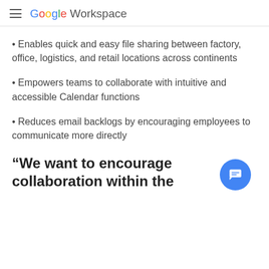Google Workspace
Enables quick and easy file sharing between factory, office, logistics, and retail locations across continents
Empowers teams to collaborate with intuitive and accessible Calendar functions
Reduces email backlogs by encouraging employees to communicate more directly
“We want to encourage collaboration within the